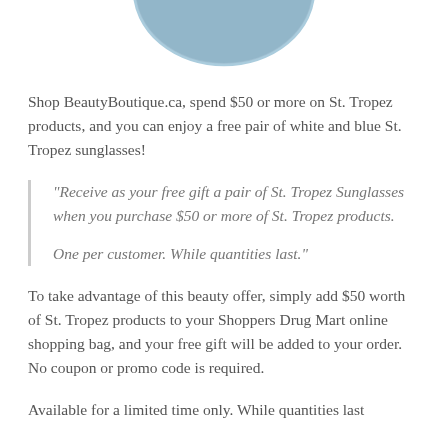[Figure (illustration): Partial view of white and blue St. Tropez sunglasses, cropped at top of page]
Shop BeautyBoutique.ca, spend $50 or more on St. Tropez products, and you can enjoy a free pair of white and blue St. Tropez sunglasses!
“Receive as your free gift a pair of St. Tropez Sunglasses when you purchase $50 or more of St. Tropez products.

One per customer. While quantities last.”
To take advantage of this beauty offer, simply add $50 worth of St. Tropez products to your Shoppers Drug Mart online shopping bag, and your free gift will be added to your order. No coupon or promo code is required.
Available for a limited time only. While quantities last